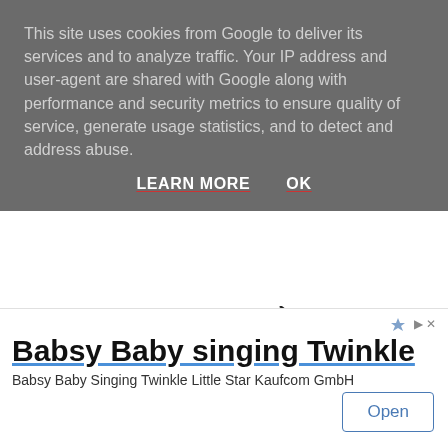This site uses cookies from Google to deliver its services and to analyze traffic. Your IP address and user-agent are shared with Google along with performance and security metrics to ensure quality of service, generate usage statistics, and to detect and address abuse.
LEARN MORE    OK
[Figure (screenshot): Advertisement banner showing GPS navigation device and smartphone with text 'Deep Discounts on Open-Box and Used']
[Figure (screenshot): Partial view of a checkmark icon and 'Like 75' text]
[Figure (screenshot): Mobile app advertisement for 'Babsy Baby singing Twinkle' by Babsy Baby Singing Twinkle Little Star Kaufcom GmbH with Open button]